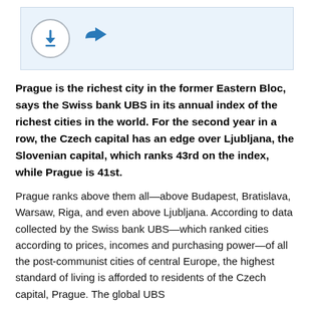[Figure (screenshot): Toolbar with download and share icons on a light blue background]
Prague is the richest city in the former Eastern Bloc, says the Swiss bank UBS in its annual index of the richest cities in the world. For the second year in a row, the Czech capital has an edge over Ljubljana, the Slovenian capital, which ranks 43rd on the index, while Prague is 41st.
Prague ranks above them all—above Budapest, Bratislava, Warsaw, Riga, and even above Ljubljana. According to data collected by the Swiss bank UBS—which ranked cities according to prices, incomes and purchasing power—of all the post-communist cities of central Europe, the highest standard of living is afforded to residents of the Czech capital, Prague. The global UBS